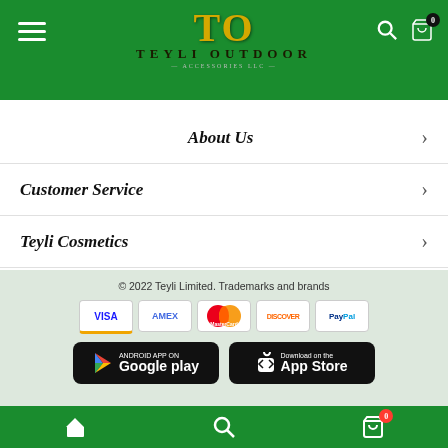[Figure (logo): Teyli Outdoor logo with golden TO letters on green background header bar]
About Us →
Customer Service →
Teyli Cosmetics →
© 2022 Teyli Limited. Trademarks and brands
[Figure (infographic): Payment method icons: VISA, AMEX, MasterCard, Discover, PayPal]
[Figure (infographic): Google Play and App Store download buttons]
Bottom navigation bar with home, search, and cart icons